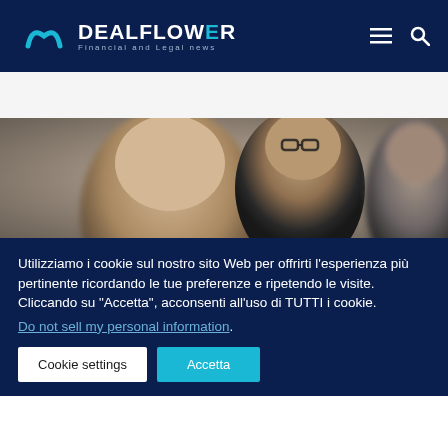DEALFLOWER Financial and Legal news
[Figure (photo): People in business attire at an event, partially visible, blurred background]
Utilizziamo i cookie sul nostro sito Web per offrirti l'esperienza più pertinente ricordando le tue preferenze e ripetendo le visite. Cliccando su "Accetta", acconsenti all'uso di TUTTI i cookie.
Do not sell my personal information.
Cookie settings
Accetta